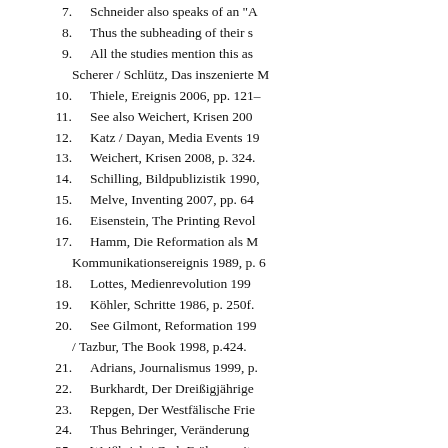7.	Schneider also speaks of an "A
8.	Thus the subheading of their s
9.	All the studies mention this as
Scherer / Schlütz, Das inszenierte M
10.	Thiele, Ereignis 2006, pp. 121–
11.	See also Weichert, Krisen 200
12.	Katz / Dayan, Media Events 19
13.	Weichert, Krisen 2008, p. 324.
14.	Schilling, Bildpublizistik 1990,
15.	Melve, Inventing 2007, pp. 64
16.	Eisenstein, The Printing Revol
17.	Hamm, Die Reformation als M
Kommunikationsereignis 1989, p. 6
18.	Lottes, Medienrevolution 199
19.	Köhler, Schritte 1986, p. 250f.
20.	See Gilmont, Reformation 199
/ Tazbur, The Book 1998, p.424.
21.	Adrians, Journalismus 1999, p.
22.	Burkhardt, Der Dreißigjährige
23.	Repgen, Der Westfälische Frie
24.	Thus Behringer, Veränderung
25.	Weißbrich / Carl, Frühneuzeit
26.	See Günther, Das Erdbeben 2
Medienereignisse im Vergleich 200
27.	Vogel, Der Untergang 2008.
28.	Burns, Infamous Scribblers 2